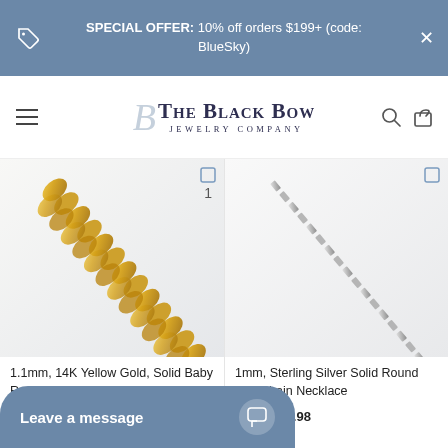SPECIAL OFFER: 10% off orders $199+ (code: BlueSky)
[Figure (logo): The Black Bow Jewelry Company logo with stylized B monogram]
[Figure (photo): 1.1mm 14K Yellow Gold Solid Baby Rope Chain Necklace close-up on light background]
1
[Figure (photo): 1mm Sterling Silver Solid Round Box Chain Necklace close-up on light background]
1.1mm, 14K Yellow Gold, Solid Baby Rope Chain Necklace
From $153.98
1mm, Sterling Silver Solid Round Box Chain Necklace
From $49.98
Leave a message